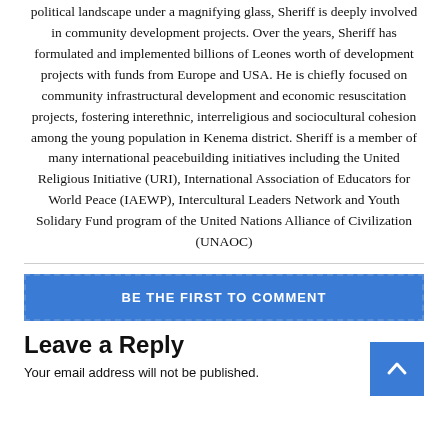political landscape under a magnifying glass, Sheriff is deeply involved in community development projects. Over the years, Sheriff has formulated and implemented billions of Leones worth of development projects with funds from Europe and USA. He is chiefly focused on community infrastructural development and economic resuscitation projects, fostering interethnic, interreligious and sociocultural cohesion among the young population in Kenema district. Sheriff is a member of many international peacebuilding initiatives including the United Religious Initiative (URI), International Association of Educators for World Peace (IAEWP), Intercultural Leaders Network and Youth Solidary Fund program of the United Nations Alliance of Civilization (UNAOC)
BE THE FIRST TO COMMENT
Leave a Reply
Your email address will not be published.